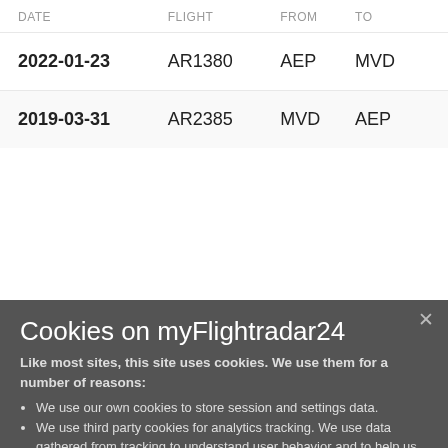| DATE | FLIGHT | FROM | TO |
| --- | --- | --- | --- |
| 2022-01-23 | AR1380 | AEP | MVD |
| 2019-03-31 | AR2385 | MVD | AEP |
Cookies on myFlightradar24
Like most sites, this site uses cookies. We use them for a number of reasons:
We use our own cookies to store session and settings data.
We use third party cookies for analytics tracking. We use data gathered from tracking to understand user behavior and to help us improve the website.
We use third party cookies for presenting ads.
By using this site, you agree to the use of cookies. Please see our privacy policy for more information including a full list of cookies that are in use.